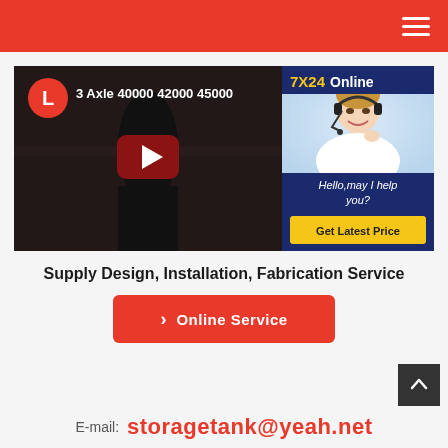[Figure (screenshot): YouTube video thumbnail showing a person working, with play button overlay, title '3 Axle 40000 42000 45000', and a channel avatar 'L' in orange circle]
[Figure (infographic): 7X24 Online support widget with agent photo, 'Hello,may I help you?' text and 'Get Latest Price' button]
Supply Design, Installation, Fabrication Service
Online Service
E-mail: storagetank@yeah.net